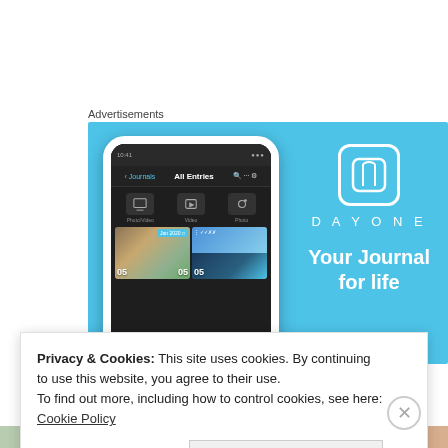Advertisements
[Figure (screenshot): DayOne app advertisement banner with sky-blue background showing a smartphone mockup displaying the DayOne journal app interface, with the DayOne logo and tagline 'Your Journal for life' on the right side]
Privacy & Cookies: This site uses cookies. By continuing to use this website, you agree to their use.
To find out more, including how to control cookies, see here: Cookie Policy
Close and accept